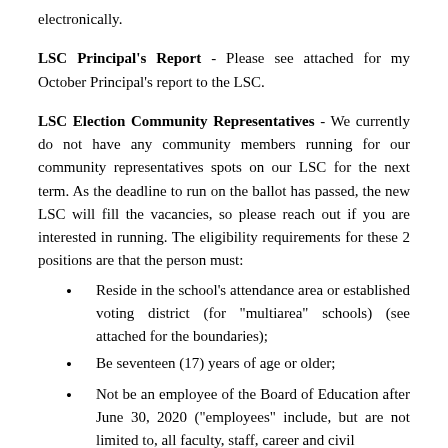electronically.
LSC Principal's Report - Please see attached for my October Principal's report to the LSC.
LSC Election Community Representatives - We currently do not have any community members running for our community representatives spots on our LSC for the next term. As the deadline to run on the ballot has passed, the new LSC will fill the vacancies, so please reach out if you are interested in running. The eligibility requirements for these 2 positions are that the person must:
Reside in the school's attendance area or established voting district (for "multiarea" schools) (see attached for the boundaries);
Be seventeen (17) years of age or older;
Not be an employee of the Board of Education after June 30, 2020 ("employees" include, but are not limited to, all faculty, staff, career and civil